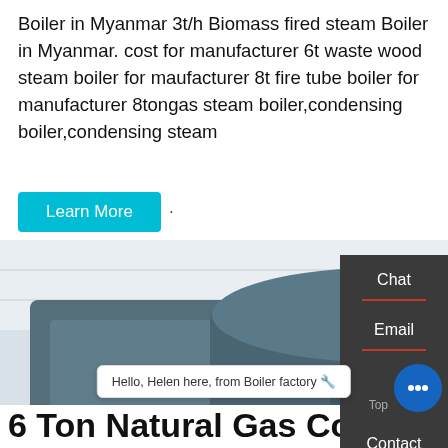Boiler in Myanmar 3t/h Biomass fired steam Boiler in Myanmar. cost for manufacturer 6t waste wood steam boiler for maufacturer 8t fire tube boiler for manufacturer 8tongas steam boiler,condensing boiler,condensing steam
Learn More ·
[Figure (photo): Industrial boiler equipment photo showing large blue cylindrical boilers with red burner components in a factory/warehouse setting. WhatsApp icon and 'Contact us now!' green button overlay visible.]
Chat
Email
Contact us now!
Contact
Hello, Helen here, from Boiler factory 🔥
6 Ton Natural Gas Condens…
Top